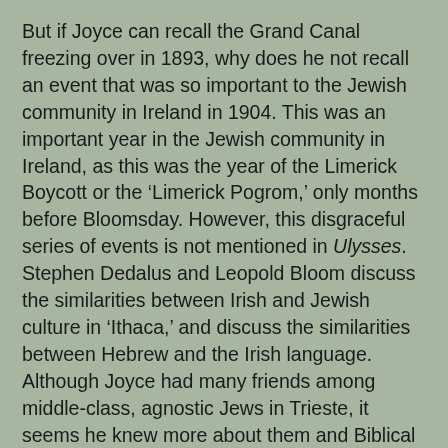But if Joyce can recall the Grand Canal freezing over in 1893, why does he not recall an event that was so important to the Jewish community in Ireland in 1904. This was an important year in the Jewish community in Ireland, as this was the year of the Limerick Boycott or the 'Limerick Pogrom,' only months before Bloomsday. However, this disgraceful series of events is not mentioned in Ulysses.
Stephen Dedalus and Leopold Bloom discuss the similarities between Irish and Jewish culture in 'Ithaca,' and discuss the similarities between Hebrew and the Irish language. Although Joyce had many friends among middle-class, agnostic Jews in Trieste, it seems he knew more about them and Biblical Jews than he did about contemporary modern Jews in Dublin. It seems he knew less about Jews and Judaism than he suggests, and assumed all Jews were alike.
Bloom does not fit in with the Jews of Dublin, yet he is not fully accepted by his Gentile peers either. He does not belong anywhere. He is too complex to label and so falls into the 'other' category, regardless of what he feels, and